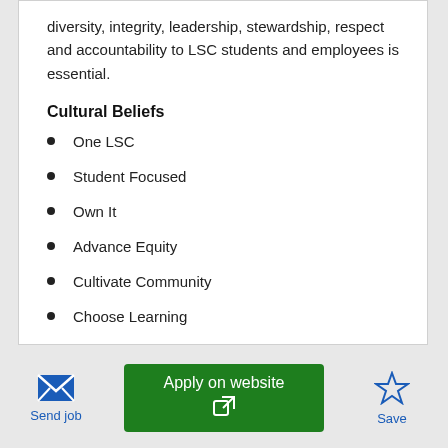diversity, integrity, leadership, stewardship, respect and accountability to LSC students and employees is essential.
Cultural Beliefs
One LSC
Student Focused
Own It
Advance Equity
Cultivate Community
Choose Learning
Send job
Apply on website
Save